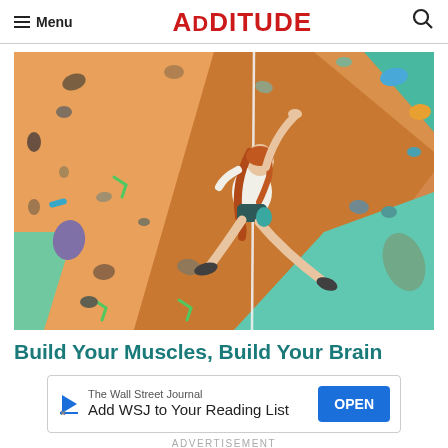Menu | ADDitude | [search]
[Figure (photo): A young girl with long red hair climbing an indoor rock climbing wall, wearing white shirt and dark shorts, reaching up with one arm extended above her head and legs spread apart on the colorful holds. The wall features orange, teal, and multi-colored climbing holds.]
Build Your Muscles, Build Your Brain
[Figure (other): Advertisement banner: The Wall Street Journal - Add WSJ to Your Reading List - OPEN button]
ADVERTISEMENT